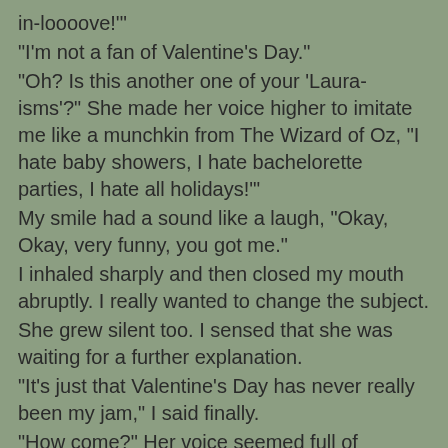in-loooove!"
"I'm not a fan of Valentine's Day."
"Oh? Is this another one of your 'Laura-isms'?" She made her voice higher to imitate me like a munchkin from The Wizard of Oz, "I hate baby showers, I hate bachelorette parties, I hate all holidays!'"
My smile had a sound like a laugh, "Okay, Okay, very funny, you got me."
I inhaled sharply and then closed my mouth abruptly.  I really wanted to change the subject.
She grew silent too.  I sensed that she was waiting for a further explanation.
"It's just that Valentine's Day has never really been my jam," I said finally.
"How come?" Her voice seemed full of genuine concern.
I took a deep breath.
She's asking.  But I know she doesn't really want the answer.  She wants to fix it for me.
"Okay," I started.  "But this may be more than you wanted to know."
She laughed, "What happened?  Did you get you get dumped on Valentine's Day or something?"